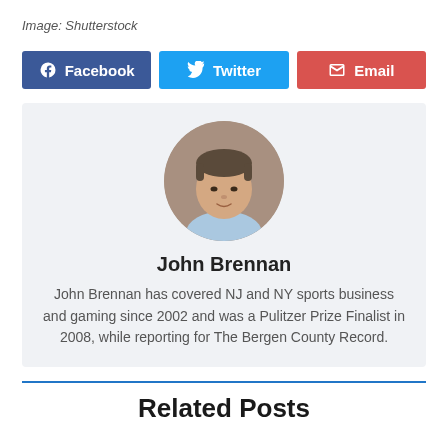Image: Shutterstock
[Figure (other): Social share buttons: Facebook, Twitter, Email]
[Figure (photo): Circular headshot photo of John Brennan, a middle-aged man with gray-brown hair wearing a light blue shirt]
John Brennan
John Brennan has covered NJ and NY sports business and gaming since 2002 and was a Pulitzer Prize Finalist in 2008, while reporting for The Bergen County Record.
Related Posts